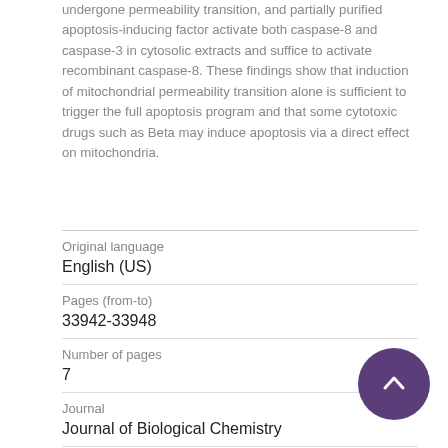undergone permeability transition, and partially purified apoptosis-inducing factor activate both caspase-8 and caspase-3 in cytosolic extracts and suffice to activate recombinant caspase-8. These findings show that induction of mitochondrial permeability transition alone is sufficient to trigger the full apoptosis program and that some cytotoxic drugs such as Beta may induce apoptosis via a direct effect on mitochondria.
| Original language | English (US) |
| Pages (from-to) | 33942-33948 |
| Number of pages | 7 |
| Journal | Journal of Biological Chemistry |
| Volume | 273 |